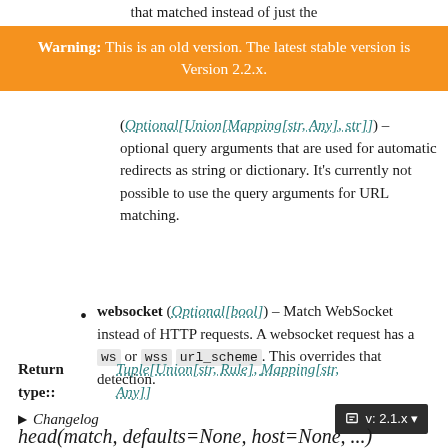that matched instead of just the
Warning: This is an old version. The latest stable version is Version 2.2.x.
(Optional[Union[Mapping[str, Any], str]]) – optional query arguments that are used for automatic redirects as string or dictionary. It's currently not possible to use the query arguments for URL matching.
websocket (Optional[bool]) – Match WebSocket instead of HTTP requests. A websocket request has a ws or wss url_scheme. This overrides that detection.
Return type:: Tuple[Union[str, Rule], Mapping[str, Any]]
▶ Changelog
head(match, defaults=None, host=None, ...)